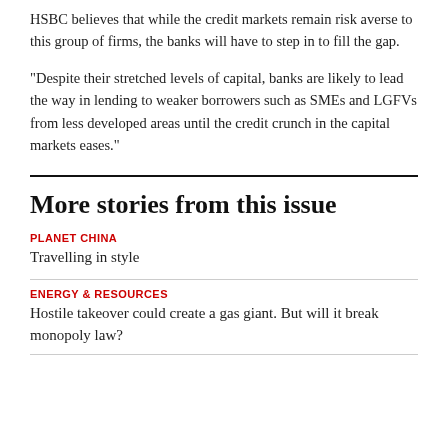HSBC believes that while the credit markets remain risk averse to this group of firms, the banks will have to step in to fill the gap.
"Despite their stretched levels of capital, banks are likely to lead the way in lending to weaker borrowers such as SMEs and LGFVs from less developed areas until the credit crunch in the capital markets eases."
More stories from this issue
PLANET CHINA
Travelling in style
ENERGY & RESOURCES
Hostile takeover could create a gas giant. But will it break monopoly law?